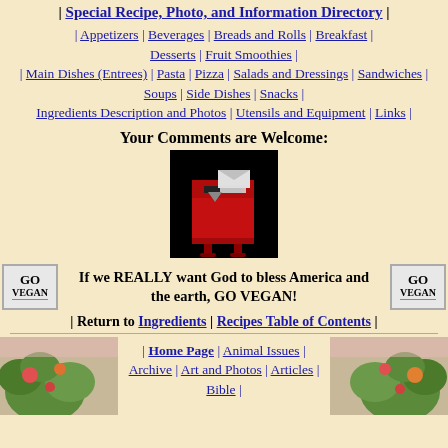Special Recipe, Photo, and Information Directory
| Appetizers | Beverages | Breads and Rolls | Breakfast | Desserts | Fruit Smoothies | | Main Dishes (Entrees) | Pasta | Pizza | Salads and Dressings | Sandwiches | Soups | Side Dishes | Snacks | Ingredients Description and Photos | Utensils and Equipment | Links |
Your Comments are Welcome:
[Figure (illustration): A red mailbox with an envelope being inserted, on a black background]
If we REALLY want God to bless America and the earth, GO VEGAN!
| Return to Ingredients | Recipes Table of Contents |
| Home Page | Animal Issues | Archive | Art and Photos | Articles | Bible |